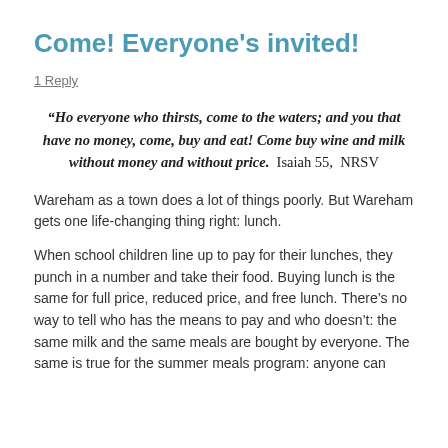Come! Everyone's invited!
1 Reply
“Ho everyone who thirsts, come to the waters; and you that have no money, come, buy and eat! Come buy wine and milk without money and without price.  Isaiah 55, NRSV
Wareham as a town does a lot of things poorly. But Wareham gets one life-changing thing right: lunch.
When school children line up to pay for their lunches, they punch in a number and take their food. Buying lunch is the same for full price, reduced price, and free lunch. There’s no way to tell who has the means to pay and who doesn’t: the same milk and the same meals are bought by everyone. The same is true for the summer meals program: anyone can